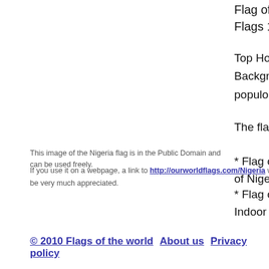Flag of Nigeria Flags 156 -
Top Home > L... Background: B... populous cou...
The flag of Ni...
* Flag of Nige... of Niger (Nylo...
This image of the Nigeria flag is in the Public Domain and can be used freely.
If you use it on a webpage, a link to http://ourworldflags.com/Nigeria would be very much appreciated.
* Flag of Nige... Indoor Outfits
© 2010 Flags of the world   About us   Privacy policy